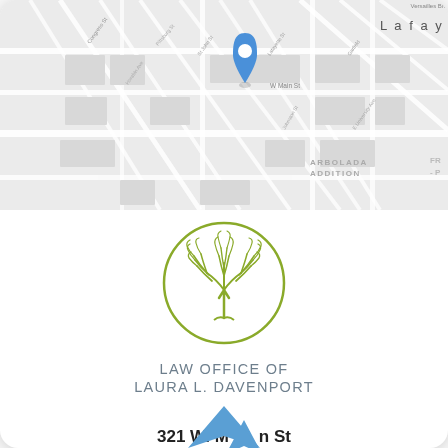[Figure (map): Street map of Lafayette area showing location pin at approximately 321 W. Main St, with streets including Versailles Blvd, Congress St, W Main St, Arbolada Addition neighborhood label, and surrounding roads.]
[Figure (logo): Circular logo with an olive/green colored tree illustration inside a circle, representing the Law Office of Laura L. Davenport.]
LAW OFFICE OF LAURA L. DAVENPORT
321 W. Main St